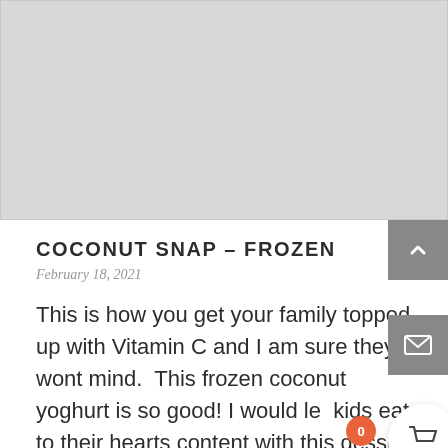[Figure (photo): Large gray placeholder image area at the top of the page]
COCONUT SNAP – FROZEN
February 18, 2021
This is how you get your family topped up with Vitamin C and I am sure they wont mind.  This frozen coconut yoghurt is so good! I would let kids eat to their hearts content with this desse